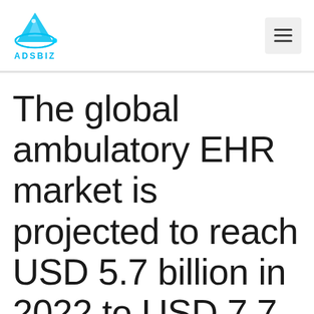[Figure (logo): ADSBIZ logo with blue triangle/mountain and orbital ring above the text ADSBIZ in cyan]
The global ambulatory EHR market is projected to reach USD 5.7 billion in 2022 to USD 7.7